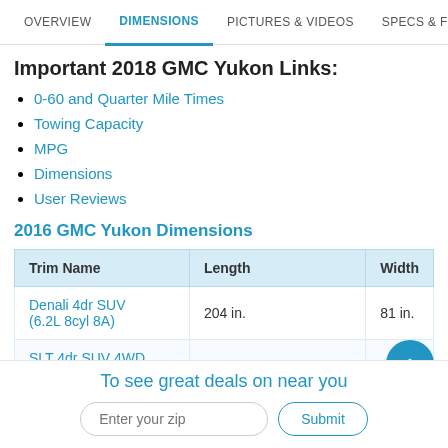OVERVIEW  DIMENSIONS  PICTURES & VIDEOS  SPECS & FEATURES
Important 2018 GMC Yukon Links:
0-60 and Quarter Mile Times
Towing Capacity
MPG
Dimensions
User Reviews
2016 GMC Yukon Dimensions
| Trim Name | Length | Width |
| --- | --- | --- |
| Denali 4dr SUV (6.2L 8cyl 8A) | 204 in. | 81 in. |
| SLT 4dr SUV 4WD |  |  |
To see great deals on near you
Enter your zip  Submit